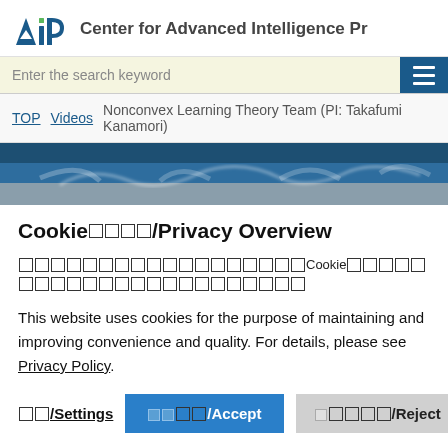AIP Center for Advanced Intelligence Pr
Enter the search keyword
TOP  Videos  Nonconvex Learning Theory Team (PI: Takafumi Kanamori)
[Figure (photo): Dark banner image with chalk writing on blackboard]
Cookie■■■■/Privacy Overview
■■■■■■■■■■■■■■■■■■Cookie■■■■■■■■■■■■■■■■■■■■■■
This website uses cookies for the purpose of maintaining and improving convenience and quality. For details, please see Privacy Policy.
■■/Settings  ■■■/Accept  ■■■■/Reject